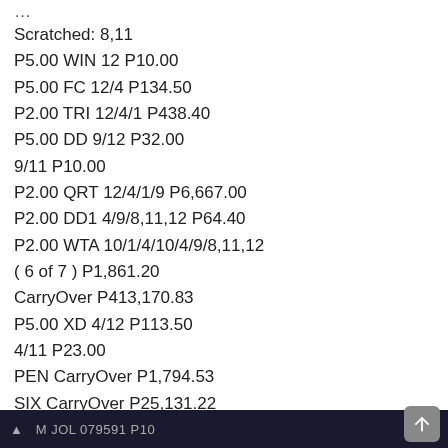Scratched: 8,11
P5.00 WIN 12 P10.00
P5.00 FC 12/4 P134.50
P2.00 TRI 12/4/1 P438.40
P5.00 DD 9/12 P32.00
9/11 P10.00
P2.00 QRT 12/4/1/9 P6,667.00
P2.00 DD1 4/9/8,11,12 P64.40
P2.00 WTA 10/1/4/10/4/9/8,11,12
( 6 of 7 ) P1,861.20
CarryOver P413,170.83
P5.00 XD 4/12 P113.50
4/11 P23.00
PEN CarryOver P1,794.53
SIX CarryOver P25,131.22
QT – 12' 24 25 28 = 1:29.6 – 1,400M
[Figure (screenshot): Dark bottom bar with partial text visible]